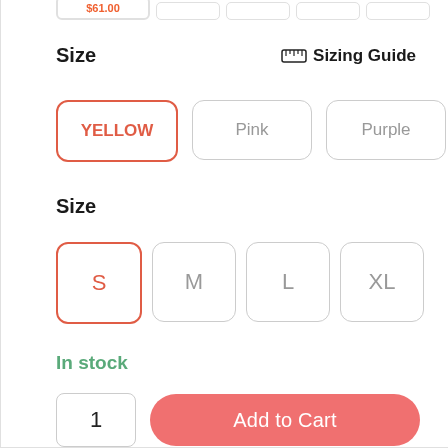Size
Sizing Guide
YELLOW
Pink
Purple
Size
S
M
L
XL
In stock
1
Add to Cart